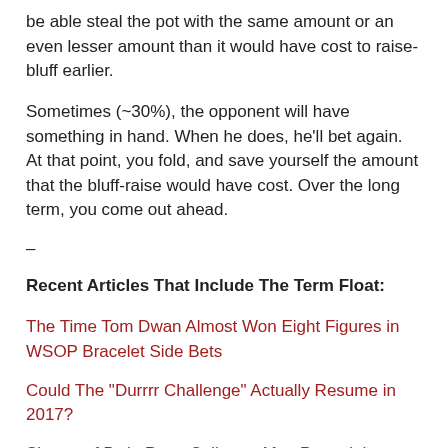be able steal the pot with the same amount or an even lesser amount than it would have cost to raise-bluff earlier.
Sometimes (~30%), the opponent will have something in hand. When he does, he'll bet again. At that point, you fold, and save yourself the amount that the bluff-raise would have cost. Over the long term, you come out ahead.
--
Recent Articles That Include The Term Float:
The Time Tom Dwan Almost Won Eight Figures in WSOP Bracelet Side Bets
Could The "Durrrr Challenge" Actually Resume in 2017?
Shares of Bwin.Party Collapse After Potential Buyers